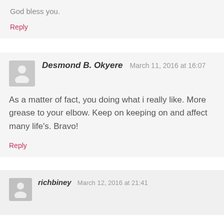God bless you.
Reply
Desmond B. Okyere   March 11, 2016 at 16:07
As a matter of fact, you doing what i really like. More grease to your elbow. Keep on keeping on and affect many life's. Bravo!
Reply
richbiney   March 12, 2016 at 21:41